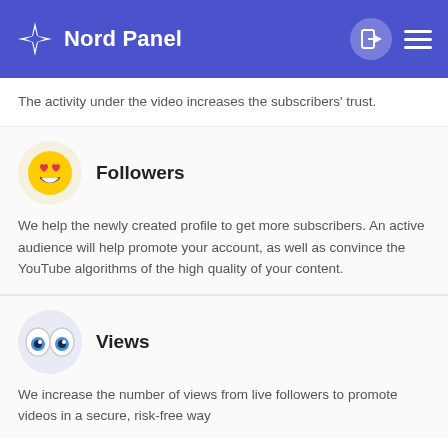Nord Panel
The activity under the video increases the subscribers' trust.
Followers
We help the newly created profile to get more subscribers. An active audience will help promote your account, as well as convince the YouTube algorithms of the high quality of your content.
Views
We increase the number of views from live followers to promote videos in a secure, risk-free way